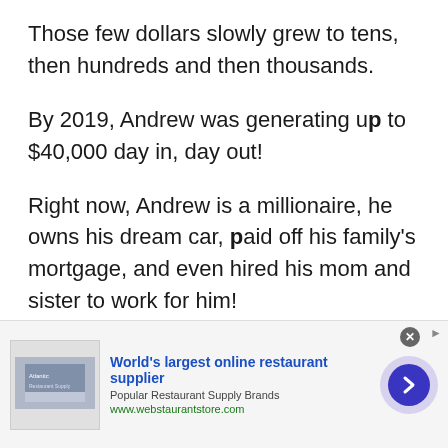Those few dollars slowly grew to tens, then hundreds and then thousands.
By 2019, Andrew was generating up to $40,000 day in, day out!
Right now, Andrew is a millionaire, he owns his dream car, paid off his family's mortgage, and even hired his mom and sister to work for him!
Chris used to work an 80-hour corporate job which made him miserable...
[Figure (other): Advertisement banner for webstaurantstore.com - World's largest online restaurant supplier with logo image and navigation arrow]